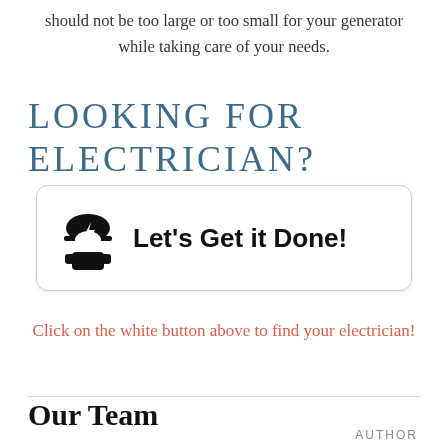should not be too large or too small for your generator while taking care of your needs.
LOOKING FOR ELECTRICIAN?
[Figure (illustration): Electrician icon (hard hat with lightning bolt) next to bold text 'Let's Get it Done!' inside a rounded white button box]
Click on the white button above to find your electrician!
Our Team
AUTHOR